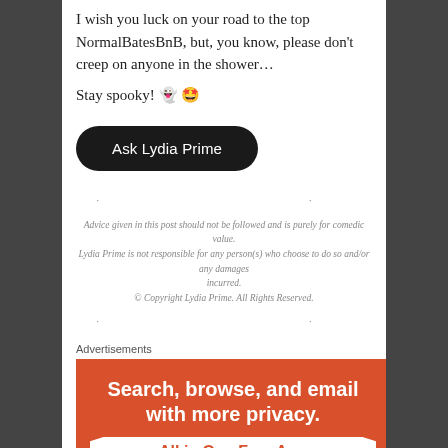I wish you luck on your road to the top NormalBatesBnB, but, you know, please don't creep on anyone in the shower…
Stay spooky! 👻 🤩
[Figure (other): Black rounded rectangle button labeled 'Ask Lydia Prime']
· ·
Advice given in this post should not be followed and is purely for comedic value. Lydia Prime is not responsible for any person(s) who choose to do so and/or any damages incurred. © Copyright Lydia Prime. All Rights Reserved.
· ·
Advertisements
[Figure (illustration): Orange advertisement banner reading 'Search, browse, and email with more privacy. All in One Free App']